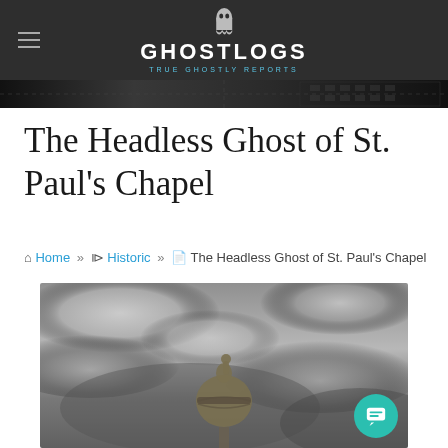[Figure (logo): GhostLogs website header logo with text 'GHOSTLOGS' and subtitle 'TRUE GHOSTLY REPORTS' on dark background, with hamburger menu icon on left]
[Figure (photo): Grayscale banner strip with dark textured/grid pattern]
The Headless Ghost of St. Paul’s Chapel
⌂ Home » ⎘ Historic » ⎘ The Headless Ghost of St. Paul's Chapel
[Figure (photo): Grayscale photograph of a church finial or stone decoration (sphere with cross/hand on top) against a dramatic cloudy sky]